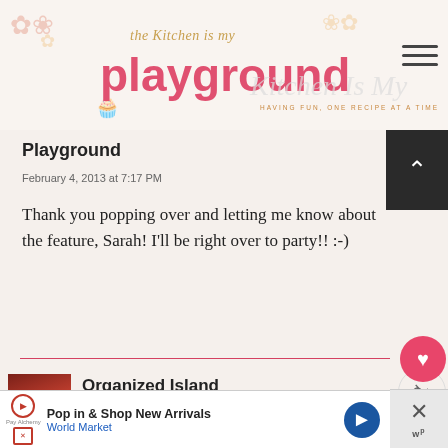The Kitchen Is My Playground — HAVING FUN, ONE RECIPE AT A TIME
Playground
February 4, 2013 at 7:17 PM
Thank you popping over and letting me know about the feature, Sarah! I'll be right over to party!! :-)
Organized Island
February 2, 2013 at 9:28 PM
These are beautiful! Had to pin them.
[Figure (other): WHAT'S NEXT arrow panel with Valentine Chocolate... thumbnail]
[Figure (other): Advertisement banner: Pop in & Shop New Arrivals — World Market]